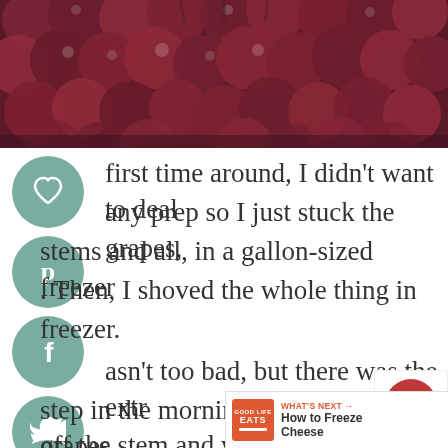[Figure (photo): Close-up photo of red/purple grapes clustered together on a wooden surface]
first time around, I didn't want to deal any prep so I just stuck the grapes, stems and all, in a gallon-sized freezer . Then, I shoved the whole thing in freezer.
asn't too bad, but there was the extra step in the morning of pulling the grapes off the stem and washing them before putting them in our smoothies (we like a
[Figure (infographic): Social share buttons: heart/save, Pinterest, Facebook, Twitter, Email icons in teal circles on left side]
[Figure (infographic): Floating red heart save button with 1.1K count and share icon]
[Figure (infographic): What's Next bar: Good Life Eats logo with text 'WHAT'S NEXT → How to Freeze Cheese']